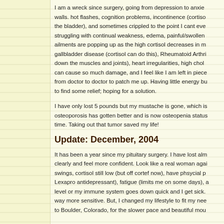I am a wreck since surgery, going from depression to anxiety, climbing walls, hot flashes, cognition problems, incontinence (cortisol weakens the bladder), and sometimes crippled to the point I cant even walk, struggling with continual weakness, edema, painful/swollen joints. New ailments are popping up as the high cortisol decreases in my body — gallbladder disease (cortisol can do this), Rheumatoid Arthritis (cortisol keeps down the muscles and joints), heart irregularities, high cholesterol. Cortisol can cause so much damage, and I feel like I am left in pieces, going from doctor to doctor to patch me up. Having little energy but continuing to find some relief; hoping for a solution.
I have only lost 5 pounds but my mustache is gone, which is wonderful, osteoporosis has gotten better and is now osteopenia status — YEA! One at a time. Taking out that tumor saved my life!
Update: December, 2004
It has been a year since my pituitary surgery. I have lost almost 40 lbs, think clearly and feel more confident. Look like a real woman again. Still have mood swings, cortisol still low (but off cortef now), have phsycial pain (given Lexapro antidepressant), fatigue (limits me on some days), any stress raises level or my immune system goes down quick and I get sick. My body became way more sensitive. But, I changed my lifestyle to fit my needs and moved to Boulder, Colorado, for the slower pace and beautiful mountains.